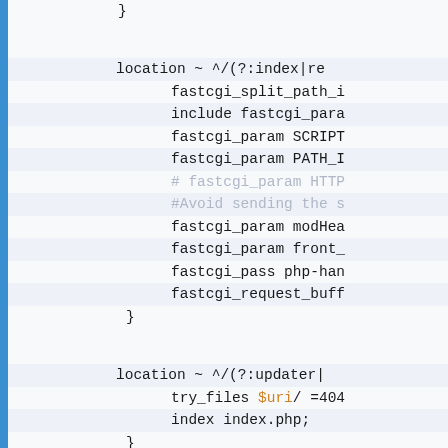Code block showing nginx configuration with location blocks, fastcgi parameters, and try_files directives.